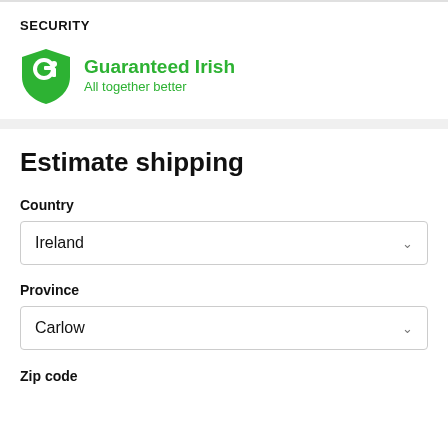SECURITY
[Figure (logo): Guaranteed Irish logo — green shield icon with letter G and i, text 'Guaranteed Irish / All together better']
Estimate shipping
Country
Ireland
Province
Carlow
Zip code